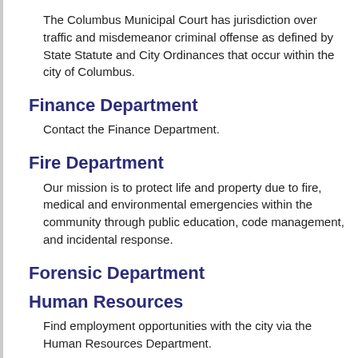The Columbus Municipal Court has jurisdiction over traffic and misdemeanor criminal offense as defined by State Statute and City Ordinances that occur within the city of Columbus.
Finance Department
Contact the Finance Department.
Fire Department
Our mission is to protect life and property due to fire, medical and environmental emergencies within the community through public education, code management, and incidental response.
Forensic Department
Human Resources
Find employment opportunities with the city via the Human Resources Department.